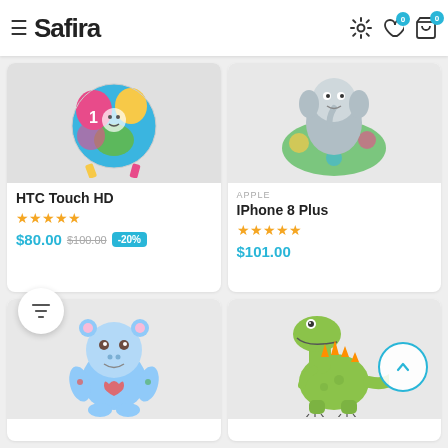≡ Safira
[Figure (photo): Colorful baby toy ball with ribbons and cartoon characters]
HTC Touch HD
★★★★★
$80.00  $100.00  -20%
[Figure (photo): Plush elephant toy on colorful play mat]
APPLE
IPhone 8 Plus
★★★★★
$101.00
[Figure (photo): Blue hippo plush toy with colorful spots]
[Figure (photo): Green dinosaur T-Rex toy figure]